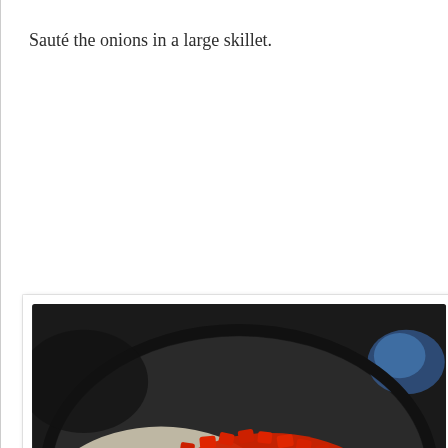Sauté the onions in a large skillet.
[Figure (photo): A skillet containing diced onions being sautéed, with a large pile of chopped red bell peppers added on top. The pan is dark/non-stick and the vegetables are raw to lightly cooked.]